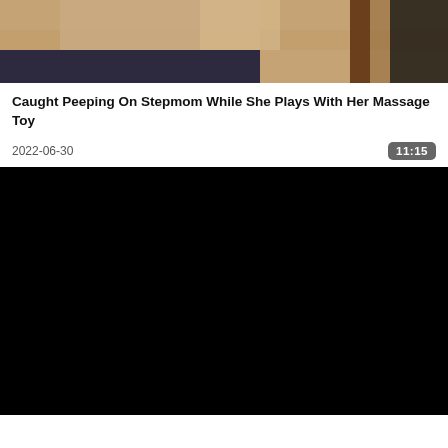[Figure (photo): Thumbnail image showing a bedroom scene with a beige/tan comforter on a bed and dark blue fabric, partially cropped at the top of the page]
Caught Peeping On Stepmom While She Plays With Her Massage Toy
2022-06-30
11:15
[Figure (screenshot): Black video player area, video not loaded or black screen]